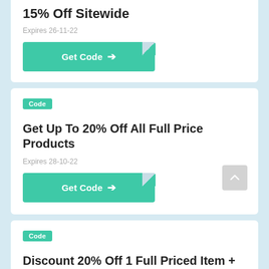15% Off Sitewide
Expires 26-11-22
[Figure (other): Green 'Get Code' button with arrow and folded corner effect]
Code
Get Up To 20% Off All Full Price Products
Expires 28-10-22
[Figure (other): Green 'Get Code' button with arrow and folded corner effect]
Code
Discount 20% Off 1 Full Priced Item + Free Shipping